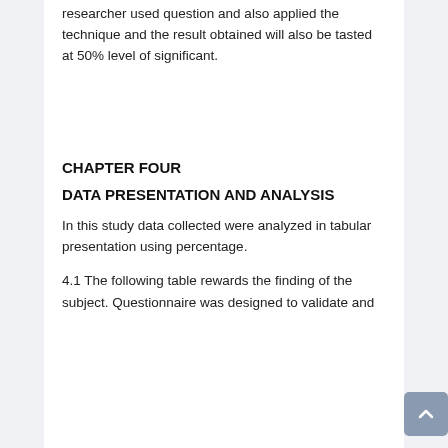researcher used question and also applied the technique and the result obtained will also be tasted at 50% level of significant.
CHAPTER FOUR
DATA PRESENTATION AND ANALYSIS
In this study data collected were analyzed in tabular presentation using percentage.
4.1 The following table rewards the finding of the subject. Questionnaire was designed to validate and